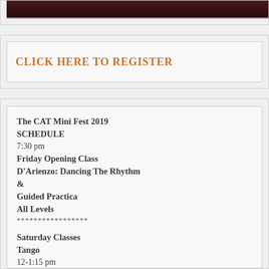[Figure (photo): Partial view of a dark-toned photo, likely dancers, cropped at top of page]
CLICK HERE TO REGISTER
The CAT Mini Fest 2019 SCHEDULE
7:30 pm
Friday Opening Class
D'Arienzo: Dancing The Rhythm
&
Guided Practica
All Levels
*****************
Saturday Classes
Tango
12-1:15 pm
Leader's & Follower's Technique